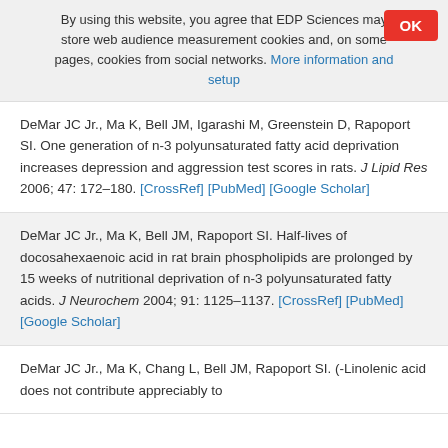By using this website, you agree that EDP Sciences may store web audience measurement cookies and, on some pages, cookies from social networks. More information and setup
DeMar JC Jr., Ma K, Bell JM, Igarashi M, Greenstein D, Rapoport SI. One generation of n-3 polyunsaturated fatty acid deprivation increases depression and aggression test scores in rats. J Lipid Res 2006; 47: 172–180. [CrossRef] [PubMed] [Google Scholar]
DeMar JC Jr., Ma K, Bell JM, Rapoport SI. Half-lives of docosahexaenoic acid in rat brain phospholipids are prolonged by 15 weeks of nutritional deprivation of n-3 polyunsaturated fatty acids. J Neurochem 2004; 91: 1125–1137. [CrossRef] [PubMed] [Google Scholar]
DeMar JC Jr., Ma K, Chang L, Bell JM, Rapoport SI. (-Linolenic acid does not contribute appreciably to